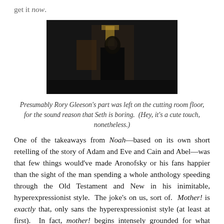get it now.
[Figure (photo): Dark film still showing a figure standing in a dimly lit interior doorway or hallway]
Presumably Rory Gleeson's part was left on the cutting room floor, for the sound reason that Seth is boring.  (Hey, it's a cute touch, nonetheless.)
One of the takeaways from Noah—based on its own short retelling of the story of Adam and Eve and Cain and Abel—was that few things would've made Aronofsky or his fans happier than the sight of the man spending a whole anthology speeding through the Old Testament and New in his inimitable, hyperexpressionist style.  The joke's on us, sort of.  Mother! is exactly that, only sans the hyperexpressionist style (at least at first).  In fact, mother! begins intensely grounded for what announces itself loudly to be a feature-length allegory; its performances, especially,